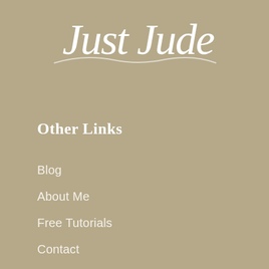[Figure (logo): Handwritten cursive script logo reading 'Just Jude' in white on tan/khaki background]
Other Links
Blog
About Me
Free Tutorials
Contact
Policies
Privacy Policy